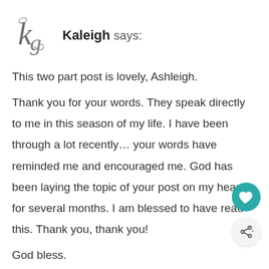[Figure (logo): Decorative script monogram logo with letters 'kg' in cursive style]
Kaleigh says:
This two part post is lovely, Ashleigh.
Thank you for your words. They speak directly to me in this season of my life. I have been through a lot recently… your words have reminded me and encouraged me. God has been laying the topic of your post on my heart for several months. I am blessed to have read this. Thank you, thank you!
God bless.